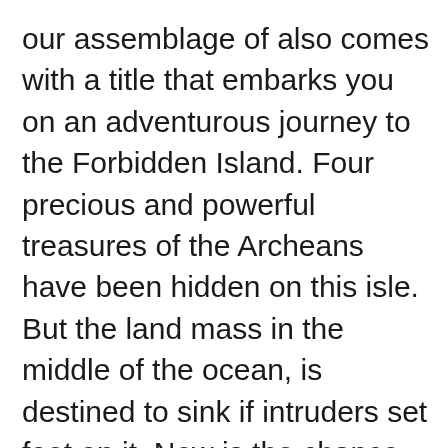our assemblage of also comes with a title that embarks you on an adventurous journey to the Forbidden Island. Four precious and powerful treasures of the Archeans have been hidden on this isle. But the land mass in the middle of the ocean, is destined to sink if intruders set foot on it. Now is the chance for you and your team of 2-4 players to go and unearth the treasures. The game has a rulebook to be followed, which should make the voyage easier and fun. You will have to shell out $4.99